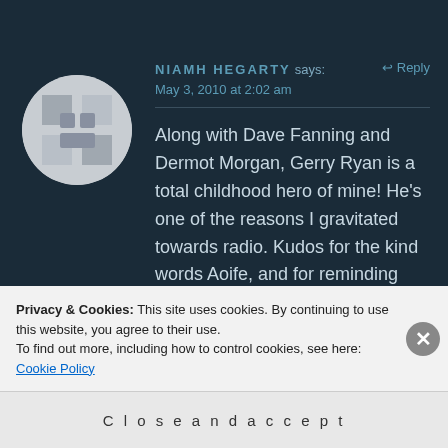[Figure (illustration): Circular avatar/profile image placeholder with a geometric pattern in grey and white tones]
NIAMH HEGARTY says: ↩ Reply
May 3, 2010 at 2:02 am
Along with Dave Fanning and Dermot Morgan, Gerry Ryan is a total childhood hero of mine! He's one of the reasons I gravitated towards radio. Kudos for the kind words Aoife, and for reminding one how significant his contribution to Irish broadcasting is.
Privacy & Cookies: This site uses cookies. By continuing to use this website, you agree to their use.
To find out more, including how to control cookies, see here: Cookie Policy
Close and accept